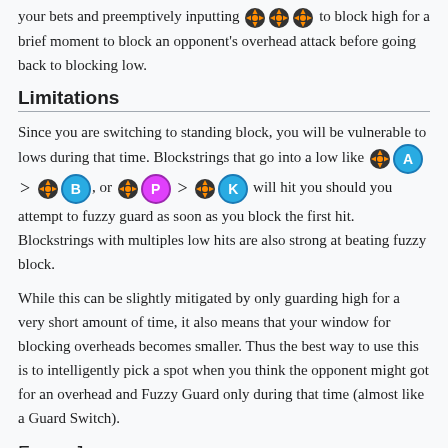your bets and preemptively inputting [icons] to block high for a brief moment to block an opponent's overhead attack before going back to blocking low.
Limitations
Since you are switching to standing block, you will be vulnerable to lows during that time. Blockstrings that go into a low like [icon]A > [icon]B, or [icon]P > [icon]K will hit you should you attempt to fuzzy guard as soon as you block the first hit. Blockstrings with multiples low hits are also strong at beating fuzzy block.
While this can be slightly mitigated by only guarding high for a very short amount of time, it also means that your window for blocking overheads becomes smaller. Thus the best way to use this is to intelligently pick a spot when you think the opponent might got for an overhead and Fuzzy Guard only during that time (almost like a Guard Switch).
Fuzzy Jump
A Fuzzy Jump is a defensive option select designed to avoid